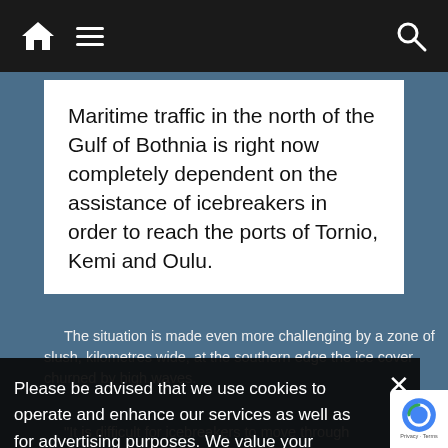Navigation bar with home icon, hamburger menu, and search icon
Maritime traffic in the north of the Gulf of Bothnia is right now completely dependent on the assistance of icebreakers in order to reach the ports of Tornio, Kemi and Oulu.
The situation is made even more challenging by a zone of slush, kilometres wide, at the southern edge the ice cover churned by high waves.
"It is difficult for icebreakers to move through
ss strongly reinforced vessels can assisted through the waves. We have to wait f the wind to fall before we can tow them towards
Please be advised that we use cookies to operate and enhance our services as well as for advertising purposes. We value your privacy. If you are not comfortable with us using this information, please review your settings before continuing your visit.
Manage your navigation settings
Find out more